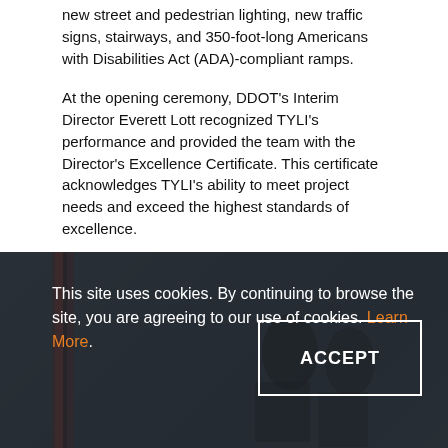new street and pedestrian lighting, new traffic signs, stairways, and 350-foot-long Americans with Disabilities Act (ADA)-compliant ramps.
At the opening ceremony, DDOT's Interim Director Everett Lott recognized TYLI's performance and provided the team with the Director's Excellence Certificate. This certificate acknowledges TYLI's ability to meet project needs and exceed the highest standards of excellence.
[Figure (photo): Dark overlay photo of construction workers or people at a project site, used as background for cookie consent banner]
This site uses cookies. By continuing to browse the site, you are agreeing to our use of cookies. Learn More.